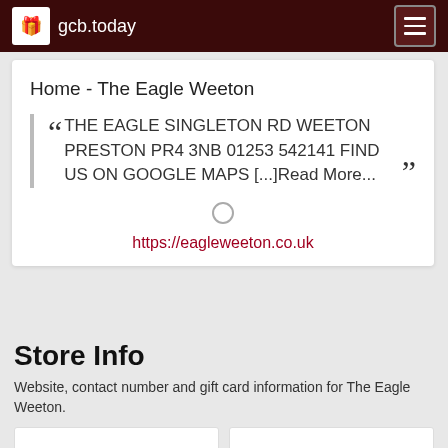gcb.today
Home - The Eagle Weeton
THE EAGLE SINGLETON RD WEETON PRESTON PR4 3NB 01253 542141 FIND US ON GOOGLE MAPS [...]Read More...
https://eagleweeton.co.uk
Store Info
Website, contact number and gift card information for The Eagle Weeton.